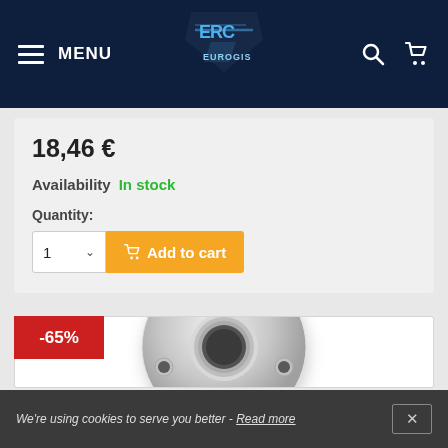MENU | EuroGis logo | Search | Cart
18,46 €
Availability  In stock
Quantity:
1  ∨  Add to cart
[Figure (photo): Silver metallic circular flange/washer part with four bolt holes, shown on white background with -65% discount badge]
We're using cookies to serve you better - Read more  ✕